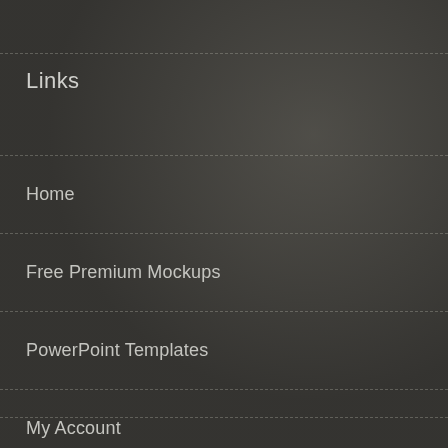Links
Home
Free Premium Mockups
PowerPoint Templates
My Account
Blog